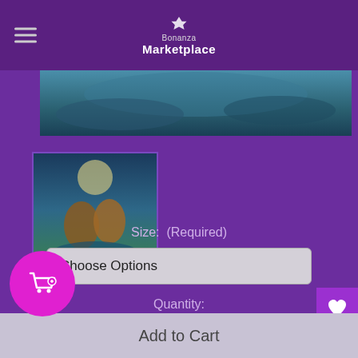Bonanza Marketplace
[Figure (photo): Product image banner showing a fantasy scene with mermaids or similar creatures near water with a moonlit background]
[Figure (photo): Thumbnail image of product showing mermaids/fantasy creatures near water at night]
Size:  (Required)
Choose Options
Quantity:
1
Add to Cart